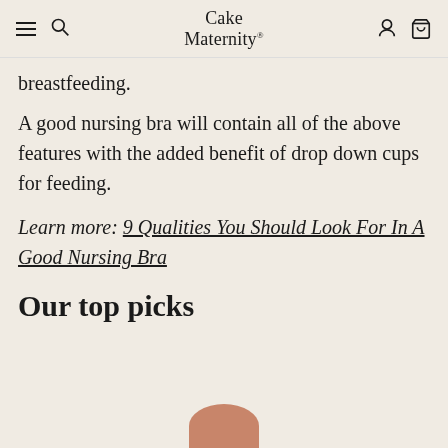Cake Maternity
breastfeeding.
A good nursing bra will contain all of the above features with the added benefit of drop down cups for feeding.
Learn more: 9 Qualities You Should Look For In A Good Nursing Bra
Our top picks
[Figure (photo): Partial view of a product photo at the bottom of the page]